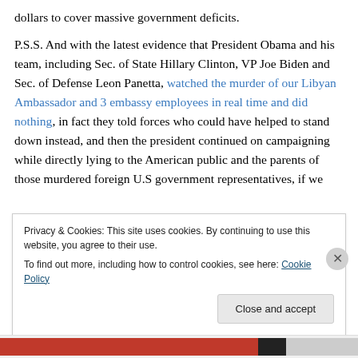dollars to cover massive government deficits.
P.S.S. And with the latest evidence that President Obama and his team, including Sec. of State Hillary Clinton, VP Joe Biden and Sec. of Defense Leon Panetta, watched the murder of our Libyan Ambassador and 3 embassy employees in real time and did nothing, in fact they told forces who could have helped to stand down instead, and then the president continued on campaigning while directly lying to the American public and the parents of those murdered foreign U.S government representatives, if we
Privacy & Cookies: This site uses cookies. By continuing to use this website, you agree to their use.
To find out more, including how to control cookies, see here: Cookie Policy